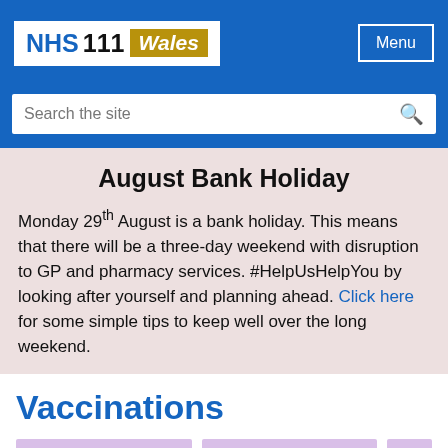[Figure (logo): NHS 111 Wales logo - white box with blue NHS text, black 111, and gold italic Wales on blue header background]
Menu
Search the site
August Bank Holiday
Monday 29th August is a bank holiday. This means that there will be a three-day weekend with disruption to GP and pharmacy services. #HelpUsHelpYou by looking after yourself and planning ahead. Click here for some simple tips to keep well over the long weekend.
Vaccinations